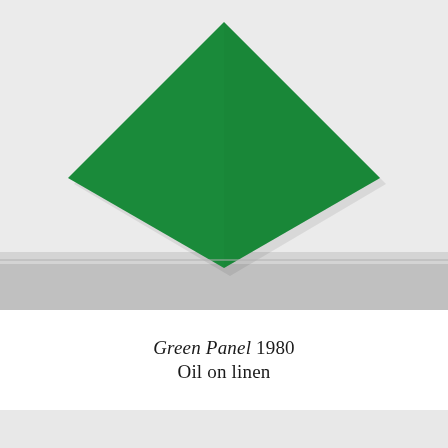[Figure (photo): Gallery photograph showing a large square canvas painted solid green, hung rotated 45 degrees (as a diamond/rhombus) on a white gallery wall above a concrete floor.]
Green Panel 1980
Oil on linen